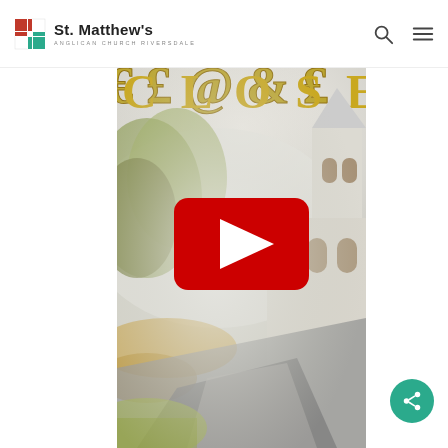St. Matthew's Anglican Church Riversdale
[Figure (screenshot): Screenshot of St. Matthew's Anglican Church Riversdale website showing a YouTube video thumbnail of a church building in autumn foliage with a YouTube play button overlay in the center. The top portion shows partial decorative gold text. The church is white with a steeple visible on the right side.]
[Figure (other): Teal/green circular share button with share icon in bottom right corner]